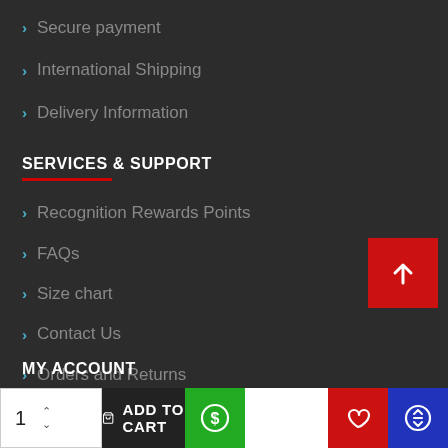> Secure payment
> International Shipping
> Delivery Information
SERVICES & SUPPORT
> Recognition Rewards Points
> FAQs
> Size chart
> Contact Us
> Orders and Returns
MY ACCOUNT